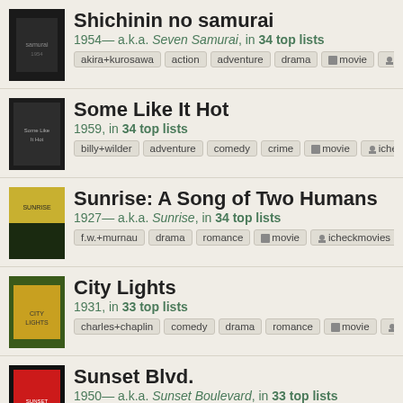Shichinin no samurai
1954— a.k.a. Seven Samurai, in 34 top lists
Tags: akira+kurosawa, action, adventure, drama, movie, icheckmovies
Some Like It Hot
1959, in 34 top lists
Tags: billy+wilder, adventure, comedy, crime, movie, icheckmovies, 195...
Sunrise: A Song of Two Humans
1927— a.k.a. Sunrise, in 34 top lists
Tags: f.w.+murnau, drama, romance, movie, icheckmovies, 1927
City Lights
1931, in 33 top lists
Tags: charles+chaplin, comedy, drama, romance, movie, icheckmovies
Sunset Blvd.
1950— a.k.a. Sunset Boulevard, in 33 top lists
Tags: billy+wilder, drama, film-noir, romance, movie, icheckmovies, 195...